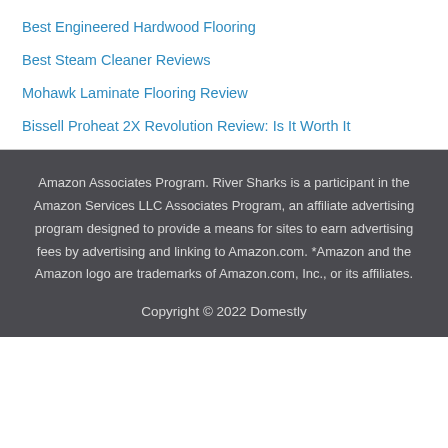Best Engineered Hardwood Flooring
Best Steam Cleaner Reviews
Mohawk Laminate Flooring Review
Bissell Proheat 2X Revolution Review: Is It Worth It
Amazon Associates Program. River Sharks is a participant in the Amazon Services LLC Associates Program, an affiliate advertising program designed to provide a means for sites to earn advertising fees by advertising and linking to Amazon.com. *Amazon and the Amazon logo are trademarks of Amazon.com, Inc., or its affiliates.
Copyright © 2022 Domestly